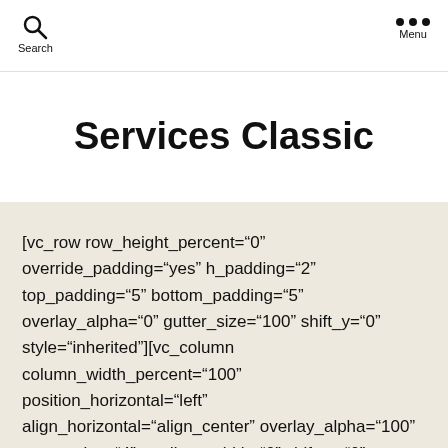Search  Menu
Services Classic
[vc_row row_height_percent="0" override_padding="yes" h_padding="2" top_padding="5" bottom_padding="5" overlay_alpha="0" gutter_size="100" shift_y="0" style="inherited"][vc_column column_width_percent="100" position_horizontal="left" align_horizontal="align_center" overlay_alpha="100" gutter_size="4" medium_width="0" shift_x="0"